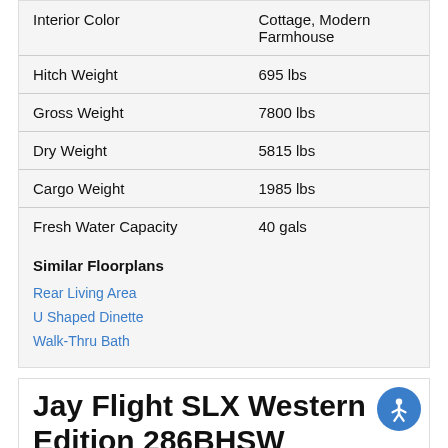| Specification | Value |
| --- | --- |
| Interior Color | Cottage, Modern Farmhouse |
| Hitch Weight | 695 lbs |
| Gross Weight | 7800 lbs |
| Dry Weight | 5815 lbs |
| Cargo Weight | 1985 lbs |
| Fresh Water Capacity | 40 gals |
Similar Floorplans
Rear Living Area
U Shaped Dinette
Walk-Thru Bath
Jay Flight SLX Western Edition 286BHSW